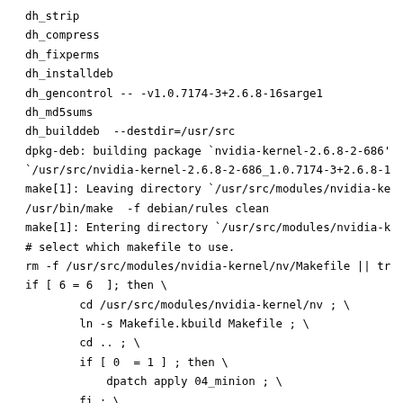dh_strip
dh_compress
dh_fixperms
dh_installdeb
dh_gencontrol -- -v1.0.7174-3+2.6.8-16sarge1
dh_md5sums
dh_builddeb  --destdir=/usr/src
dpkg-deb: building package `nvidia-kernel-2.6.8-2-686'
`/usr/src/nvidia-kernel-2.6.8-2-686_1.0.7174-3+2.6.8-16
make[1]: Leaving directory `/usr/src/modules/nvidia-ke
/usr/bin/make  -f debian/rules clean
make[1]: Entering directory `/usr/src/modules/nvidia-k
# select which makefile to use.
rm -f /usr/src/modules/nvidia-kernel/nv/Makefile || tr
if [ 6 = 6  ]; then \
        cd /usr/src/modules/nvidia-kernel/nv ; \
        ln -s Makefile.kbuild Makefile ; \
        cd .. ; \
        if [ 0  = 1 ] ; then \
            dpatch apply 04_minion ; \
        fi ; \
        if [ 0 = 1 ]; then \
            dpatch apply 01_sysfs ; \
            dpatch status 01_sysfs >patch-stamp ; \
            dpatch apply 02_pcialias ; \
                    dpatch status 02_pcialias >>patch-stamp
    fi ; \